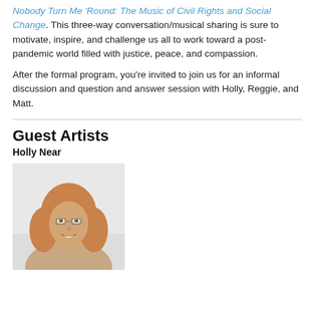Nobody Turn Me 'Round: The Music of Civil Rights and Social Change. This three-way conversation/musical sharing is sure to motivate, inspire, and challenge us all to work toward a post-pandemic world filled with justice, peace, and compassion.
After the formal program, you're invited to join us for an informal discussion and question and answer session with Holly, Reggie, and Matt.
Guest Artists
Holly Near
[Figure (photo): Portrait photo of Holly Near, a woman with curly reddish-blonde hair and glasses, smiling, against a light background.]